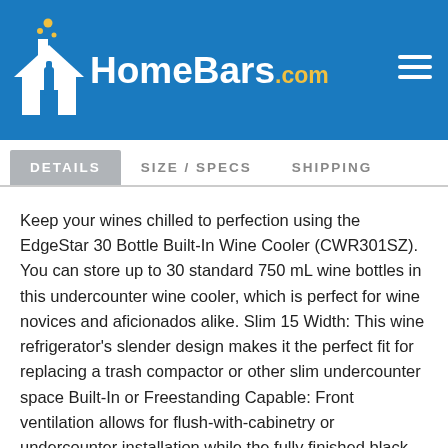HomeBars.com
DETAILS  SIZE / SPECS  SHIPPING
Keep your wines chilled to perfection using the EdgeStar 30 Bottle Built-In Wine Cooler (CWR301SZ). You can store up to 30 standard 750 mL wine bottles in this undercounter wine cooler, which is perfect for wine novices and aficionados alike. Slim 15 Width: This wine refrigerator's slender design makes it the perfect fit for replacing a trash compactor or other slim undercounter space Built-In or Freestanding Capable: Front ventilation allows for flush-with-cabinetry or undercounter installation while the fully finished black cabinet allows for freestanding use, as well Digital Controls: Soft touch electronic controls allow easy temperature adjustment, between 40 and 65 degrees, and monitoring through digital display Elegant Display